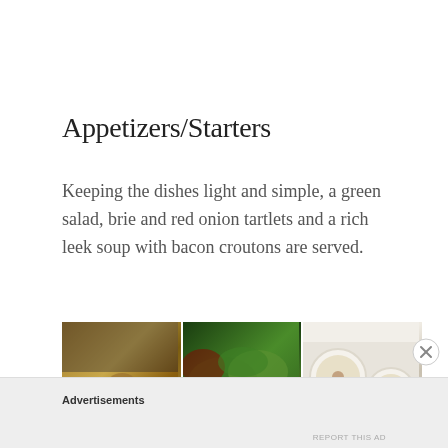Appetizers/Starters
Keeping the dishes light and simple, a green salad, brie and red onion tartlets and a rich leek soup with bacon croutons are served.
[Figure (photo): Three food photos side by side: tartlets on a wooden board, a green salad, and bowls of creamy soup]
Advertisements